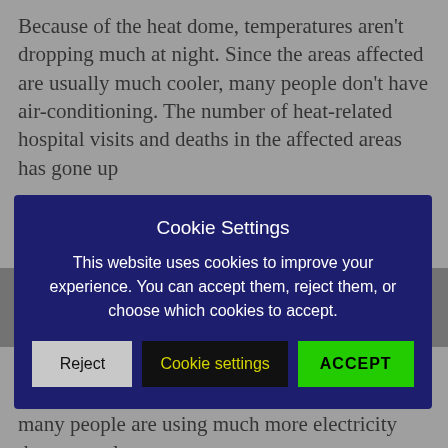Because of the heat dome, temperatures aren't dropping much at night. Since the areas affected are usually much cooler, many people don't have air-conditioning. The number of heat-related hospital visits and deaths in the affected areas has gone up
[Figure (screenshot): Cookie Settings modal overlay with dark navy background. Title: 'Cookie Settings'. Body text: 'This website uses cookies to improve your experience. You can accept them, reject them, or choose which cookies to accept.' Three buttons: 'Reject' (gray), 'Cookie settings' (black with yellow text), 'ACCEPT' (green).]
The heat wave is not just about records. It's causing serious health problems. Though some cities are offering cooling centers and misting stations to help people beat the heat, it's not always enough. Above, a misting station in Vancouver, Canada.
In an effort to keep cool during the heat wave, many people are using much more electricity than normal